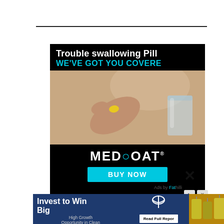[Figure (photo): MedCoat advertisement: 'Trouble swallowing Pills? WE'VE GOT YOU COVERED' with a woman holding a yellow pill and a glass of water, MEDCOAT brand name, BUY NOW button]
[Figure (photo): Invest to Win Big advertisement for High Growth Opportunity in Clean Energy with Read Full Report button and industrial plant photo]